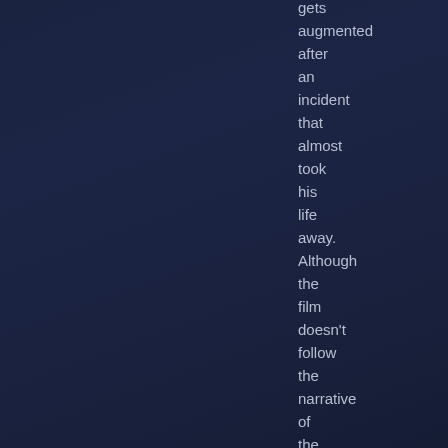gets augmented after an incident that almost took his life away. Although the film doesn't follow the narrative of the game